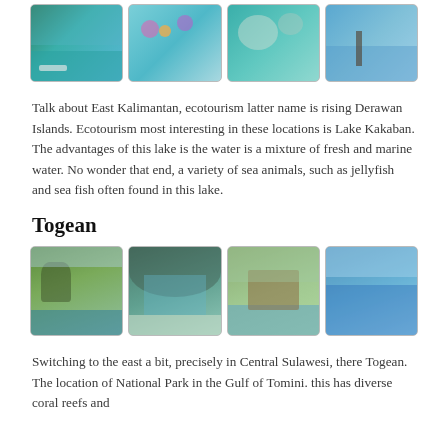[Figure (photo): Four photos in a row: boat on blue-green water, colorful jellyfish underwater, jellyfish underwater, person on dock by calm lake]
Talk about East Kalimantan, ecotourism latter name is rising Derawan Islands. Ecotourism most interesting in these locations is Lake Kakaban. The advantages of this lake is the water is a mixture of fresh and marine water. No wonder that end, a variety of sea animals, such as jellyfish and sea fish often found in this lake.
Togean
[Figure (photo): Four photos in a row: rocky island in sea, cave/limestone with beach, wooden pier/boardwalk to beach huts, calm blue sea aerial view]
Switching to the east a bit, precisely in Central Sulawesi, there Togean. The location of National Park in the Gulf of Tomini. this has diverse coral reefs and